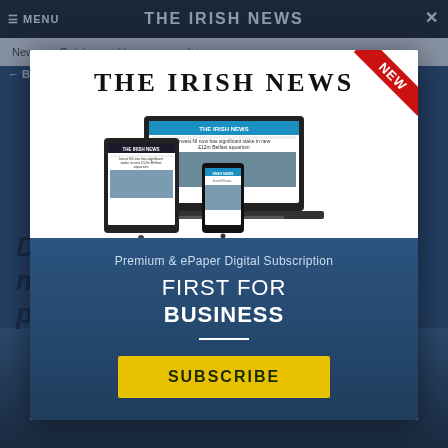THE IRISH NEWS
[Figure (screenshot): The Irish News website shown in background with navigation bar containing MENU and THE IRISH NEWS title, secondary nav with News, Opinion, Magazine, Ads links, and headline 'Derry-based company on major growth drive after private equity backing']
[Figure (screenshot): Modal overlay showing The Irish News digital subscription promotion with devices (laptop, tablet, phone) displaying the website, 'NEW' red ribbon in top-right corner]
THE IRISH NEWS
Premium & ePaper Digital Subscription
FIRST FOR BUSINESS
SUBSCRIBE